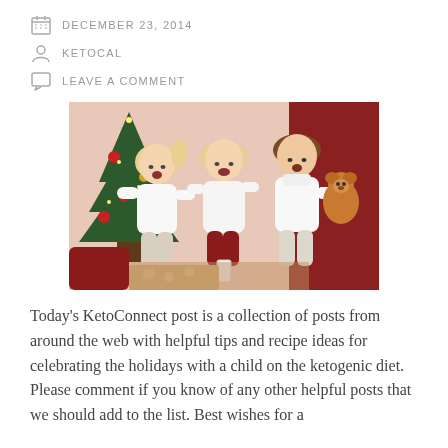DECEMBER 23, 2014
KETOCAL
LEAVE A COMMENT
[Figure (photo): Three children sitting together in front of a Christmas tree. Two blonde girls and a boy in white sweater holding a teddy bear, smiling and celebrating Christmas.]
Today's KetoConnect post is a collection of posts from around the web with helpful tips and recipe ideas for celebrating the holidays with a child on the ketogenic diet. Please comment if you know of any other helpful posts that we should add to the list. Best wishes for a